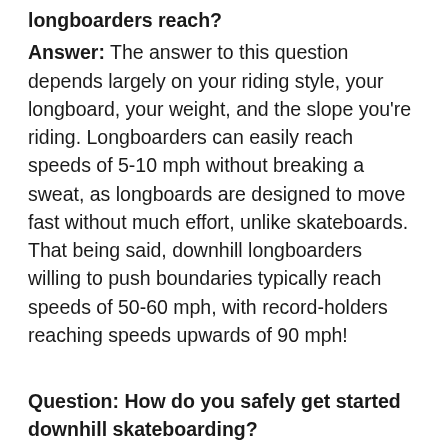longboarders reach?
Answer: The answer to this question depends largely on your riding style, your longboard, your weight, and the slope you're riding. Longboarders can easily reach speeds of 5-10 mph without breaking a sweat, as longboards are designed to move fast without much effort, unlike skateboards. That being said, downhill longboarders willing to push boundaries typically reach speeds of 50-60 mph, with record-holders reaching speeds upwards of 90 mph!
Question: How do you safely get started downhill skateboarding?
Answer: Once you are comfortable riding your